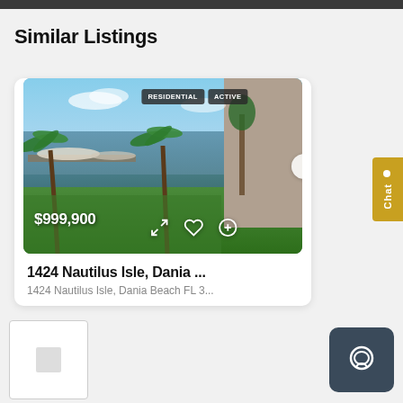Similar Listings
[Figure (photo): Waterfront residential property photo showing canal, green lawn, palm trees, and a wall. Price overlay $999,900. Badges: RESIDENTIAL, ACTIVE.]
1424 Nautilus Isle, Dania ...
1424 Nautilus Isle, Dania Beach FL 3...